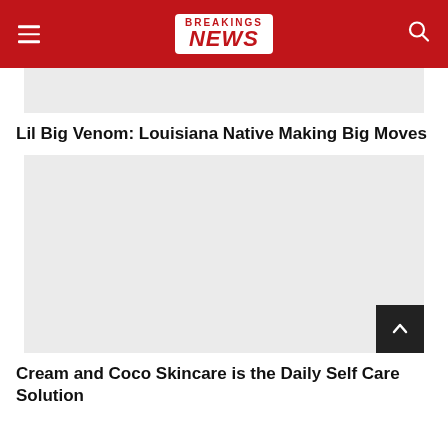BREAKINGS NEWS
[Figure (photo): Gray placeholder image for first article]
Lil Big Venom: Louisiana Native Making Big Moves
[Figure (photo): Gray placeholder image for second article with scroll-to-top button]
Cream and Coco Skincare is the Daily Self Care Solution